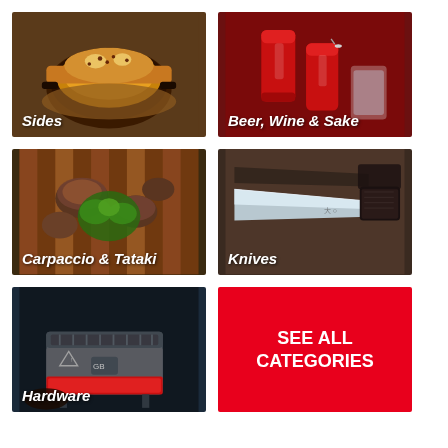[Figure (photo): Cast iron skillet with cheesy baked side dish topped with crumbled bacon, labeled 'Sides']
[Figure (photo): Red beer/beverage cans and a can being opened, labeled 'Beer, Wine & Sake']
[Figure (photo): Mushrooms and lettuce on a striped cloth, labeled 'Carpaccio & Tataki']
[Figure (photo): Japanese chef's knife with a dark handle on a wooden surface, labeled 'Knives']
[Figure (photo): Commercial kitchen grill hardware equipment on dark background, labeled 'Hardware']
[Figure (infographic): Red tile with white bold text reading 'SEE ALL CATEGORIES']